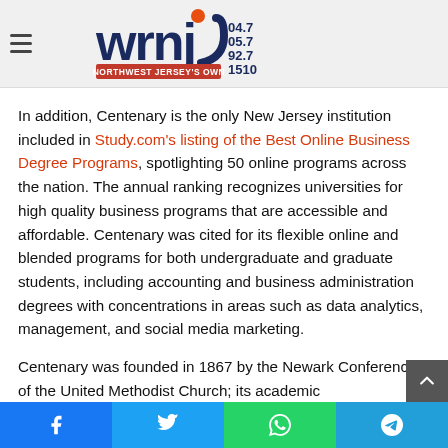WRNJ Radio – Northwest Jersey's Own – 104.7 / 105.7 / 92.7 / 1510
In addition, Centenary is the only New Jersey institution included in Study.com's listing of the Best Online Business Degree Programs, spotlighting 50 online programs across the nation. The annual ranking recognizes universities for high quality business programs that are accessible and affordable. Centenary was cited for its flexible online and blended programs for both undergraduate and graduate students, including accounting and business administration degrees with concentrations in areas such as data analytics, management, and social media marketing.
Centenary was founded in 1867 by the Newark Conference of the United Methodist Church; its academic...